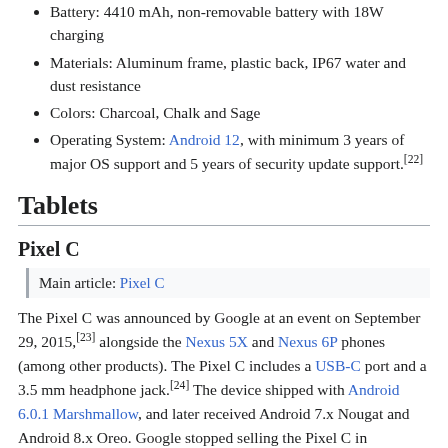Battery: 4410 mAh, non-removable battery with 18W charging
Materials: Aluminum frame, plastic back, IP67 water and dust resistance
Colors: Charcoal, Chalk and Sage
Operating System: Android 12, with minimum 3 years of major OS support and 5 years of security update support.[22]
Tablets
Pixel C
Main article: Pixel C
The Pixel C was announced by Google at an event on September 29, 2015,[23] alongside the Nexus 5X and Nexus 6P phones (among other products). The Pixel C includes a USB-C port and a 3.5 mm headphone jack.[24] The device shipped with Android 6.0.1 Marshmallow, and later received Android 7.x Nougat and Android 8.x Oreo. Google stopped selling the Pixel C in December 2017.[25]
Display: 10.2" display with 2560×1800 pixel resolution
Processor: NVIDIA Tegra X1